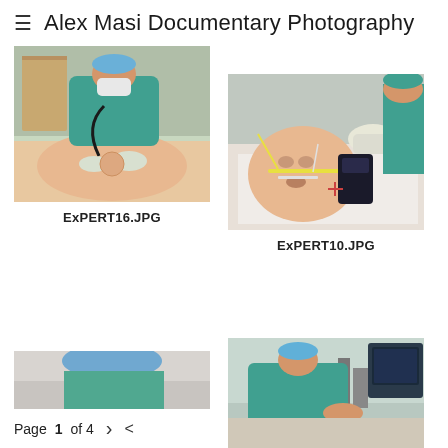≡  Alex Masi Documentary Photography
[Figure (photo): Medical professional in teal scrubs, surgical mask and blue cap, using a stethoscope on a medical simulation mannequin torso in a clinical setting]
ExPERT16.JPG
[Figure (photo): Close-up of a medical simulation mannequin torso with a defibrillator paddle being applied, medical staff in teal scrubs and gloves visible in background]
ExPERT10.JPG
[Figure (photo): Partially visible photo of a medical scene, cropped at bottom of page]
Page 1 of 4
[Figure (photo): Medical professional in teal scrubs leaning over equipment in a clinical room with monitoring devices visible]